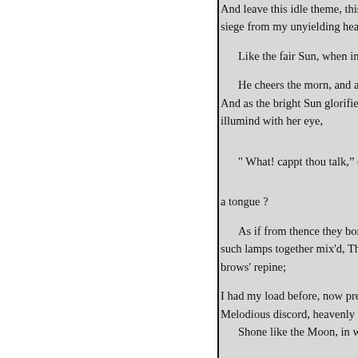And leave this idle theme, this b[anter]
siege from my unyielding heart ;

    Like the fair Sun, when in his

    He cheers the morn, and all th
And as the bright Sun glorifies th
illumind with her eye,

    " What! cappt thou talk," quot

a tongue ?

    As if from thence they borrow
such lamps together mix'd, Thy m
brows' repine;

I had my load before, now press'
Melodious discord, heavenly tun

    Shone like the Moon, in water



    " Had I no eyes, but ears, m
    That inward beauty and in